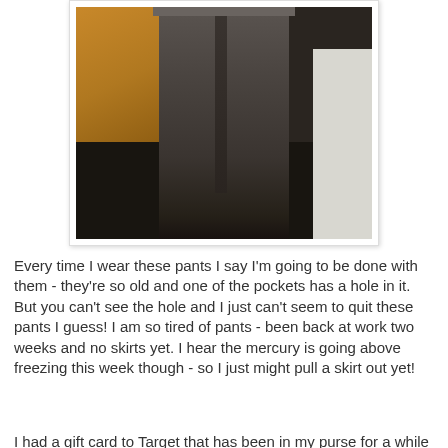[Figure (photo): Photo of a person wearing dark brown/grey trousers, standing indoors. Background shows a wooden cabinet on the left and a white wall/partition on the right. Only the lower body is visible.]
Every time I wear these pants I say I'm going to be done with them - they're so old and one of the pockets has a hole in it.  But you can't see the hole and I just can't seem to quit these pants I guess!  I am so tired of pants - been back at work two weeks and no skirts yet.  I hear the mercury is going above freezing this week though - so I just might pull a skirt out yet!
I had a gift card to Target that has been in my purse for a while and...